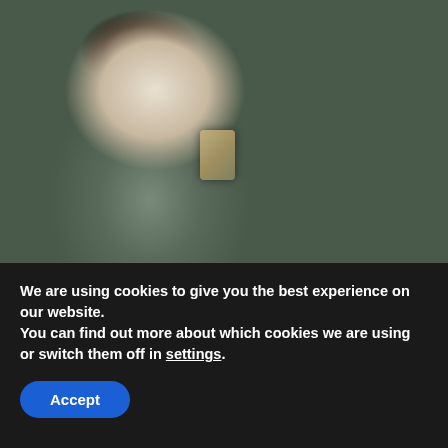[Figure (photo): Two people sitting on a brown couch. Person on the left wearing a white t-shirt and grey/green jeans, holding a smartphone. Person on the right in dark clothing. Decorative pillow in teal and pink visible on the right side.]
Zari seeks solace in a top Ugandan male socialite whom she spent a night with (Photos)
We are using cookies to give you the best experience on our website.
You can find out more about which cookies we are using or switch them off in settings.